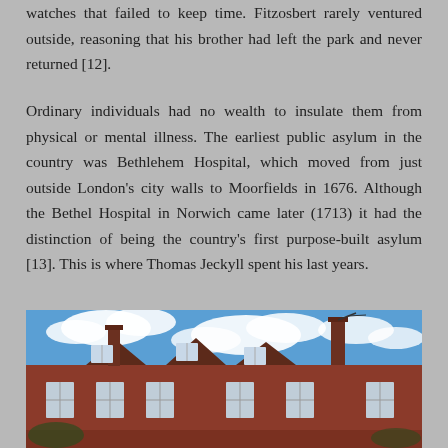watches that failed to keep time. Fitzosbert rarely ventured outside, reasoning that his brother had left the park and never returned [12].
Ordinary individuals had no wealth to insulate them from physical or mental illness. The earliest public asylum in the country was Bethlehem Hospital, which moved from just outside London's city walls to Moorfields in 1676. Although the Bethel Hospital in Norwich came later (1713) it had the distinction of being the country's first purpose-built asylum [13]. This is where Thomas Jeckyll spent his last years.
[Figure (photo): Photograph of a red-brick Victorian building with dormer windows and chimneys against a blue sky with white clouds, likely depicting Bethel Hospital in Norwich.]